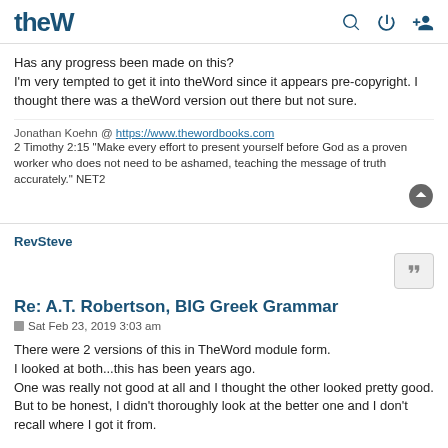theW [logo] [search icon] [power icon] [user icon]
Has any progress been made on this?
I'm very tempted to get it into theWord since it appears pre-copyright. I thought there was a theWord version out there but not sure.
Jonathan Koehn @ https://www.thewordbooks.com
2 Timothy 2:15 "Make every effort to present yourself before God as a proven worker who does not need to be ashamed, teaching the message of truth accurately." NET2
RevSteve
Re: A.T. Robertson, BIG Greek Grammar
Sat Feb 23, 2019 3:03 am
There were 2 versions of this in TheWord module form.
I looked at both...this has been years ago.
One was really not good at all and I thought the other looked pretty good.
But to be honest, I didn't thoroughly look at the better one and I don't recall where I got it from.